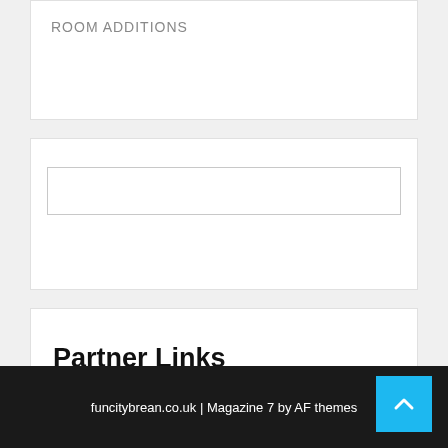ROOM ADDITIONS
[Figure (other): Search input box widget]
Partner Links
Visit Now
Business & Fnance
funcitybrean.co.uk | Magazine 7 by AF themes